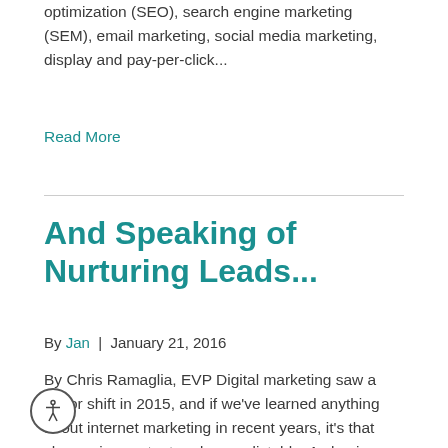optimization (SEO), search engine marketing (SEM), email marketing, social media marketing, display and pay-per-click...
Read More
And Speaking of Nurturing Leads...
By Jan  |  January 21, 2016
By Chris Ramaglia, EVP Digital marketing saw a major shift in 2015, and if we've learned anything about internet marketing in recent years, it's that change is constant and unpredictable. As buying behavior continues to evolve — both online and off — we have to respond with technologies and tactics that sell, and marketing strategies...